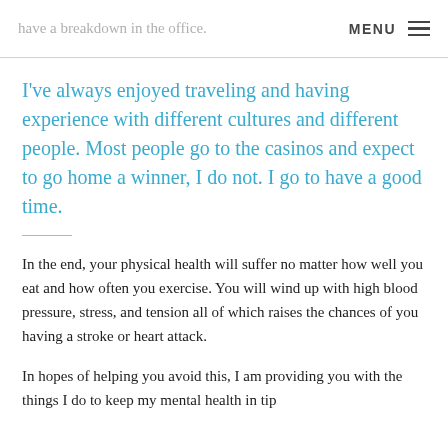have a breakdown in the office.   MENU
I've always enjoyed traveling and having experience with different cultures and different people. Most people go to the casinos and expect to go home a winner, I do not. I go to have a good time.
In the end, your physical health will suffer no matter how well you eat and how often you exercise. You will wind up with high blood pressure, stress, and tension all of which raises the chances of you having a stroke or heart attack.
In hopes of helping you avoid this, I am providing you with the things I do to keep my mental health in tip...